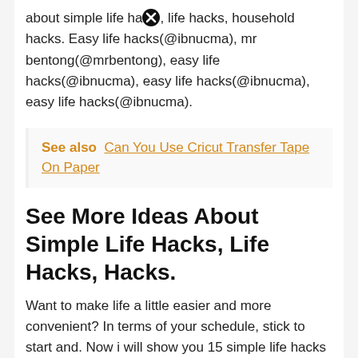about simple life hacks, life hacks, household hacks. Easy life hacks(@ibnucma), mr bentong(@mrbentong), easy life hacks(@ibnucma), easy life hacks(@ibnucma), easy life hacks(@ibnucma).
See also  Can You Use Cricut Transfer Tape On Paper
See More Ideas About Simple Life Hacks, Life Hacks, Hacks.
Want to make life a little easier and more convenient? In terms of your schedule, stick to start and. Now i will show you 15 simple life hacks / home hacks you can